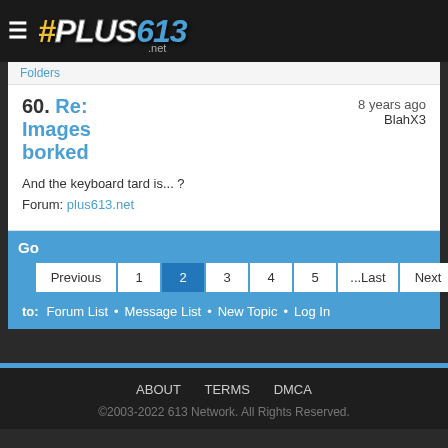# PLUS613 .net
Folders
60. Re: Images borked
8 years ago
BlahX3
And the keyboard tard is... ?
Forum: plus613.net
Go
Previous 1 2 3 4 5 ...Last Next
to: Forum List • Message List • New Topic • Log In
ABOUT   TERMS   DMCA
©2003-2022 613 Network. All Rights Reserved.